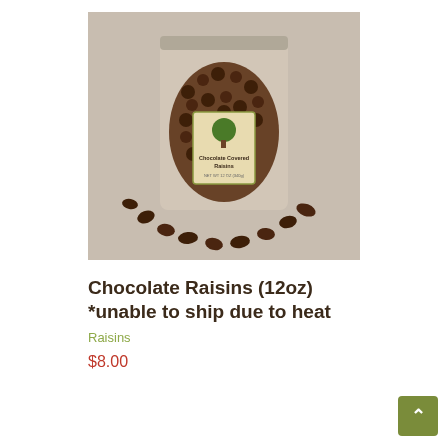[Figure (photo): A clear plastic bag of chocolate covered raisins with a branded label showing a tree logo and text 'Chocolate Covered Raisins', surrounded by scattered chocolate raisins on a gray background.]
Chocolate Raisins (12oz) *unable to ship due to heat
Raisins
$8.00